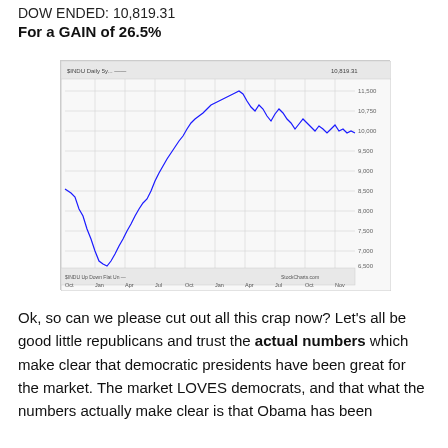DOW ENDED: 10,819.31
For a GAIN of 26.5%
[Figure (continuous-plot): Line chart showing the Dow Jones Industrial Average over approximately 2 years, starting around 8,500, dipping to a low near 6,500, then rising steeply to a peak near 11,700, followed by volatility around 10,000–11,000 range, ending around 10,800. Source: StockCharts.com]
Ok, so can we please cut out all this crap now? Let's all be good little republicans and trust the actual numbers which make clear that democratic presidents have been great for the market. The market LOVES democrats, and that what the numbers actually make clear is that Obama has been